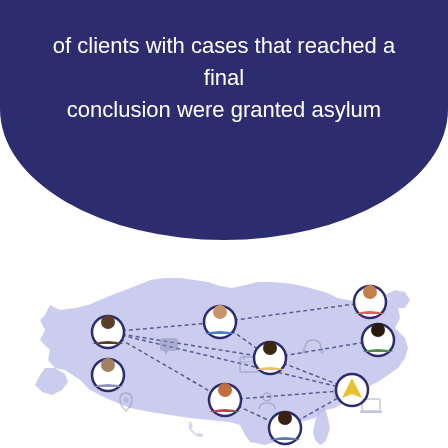of clients with cases that reached a final conclusion were granted asylum
[Figure (map): Illustrated map of the United States in light periwinkle/lavender color showing a network of connected people (avatar icons) at various geographic locations across the country, connected by dotted lines. Icons for chat, calendar, headset, location pin, document, laptop, and navigation are scattered across the map suggesting remote legal services.]